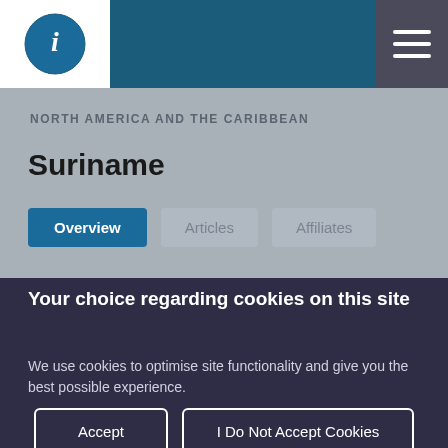NORTH AMERICA AND THE CARIBBEAN
Suriname
Overview  Articles  Affiliates
Your choice regarding cookies on this site
We use cookies to optimise site functionality and give you the best possible experience.
Accept
I Do Not Accept Cookies
Cookie Preferences